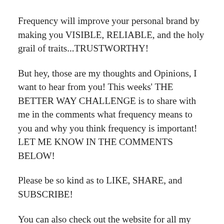Frequency will improve your personal brand by making you VISIBLE, RELIABLE, and the holy grail of traits...TRUSTWORTHY!
But hey, those are my thoughts and Opinions, I want to hear from you! This weeks' THE BETTER WAY CHALLENGE is to share with me in the comments what frequency means to you and why you think frequency is important!  LET ME KNOW IN THE COMMENTS BELOW!
Please be so kind as to LIKE, SHARE, and SUBSCRIBE!
You can also check out the website for all my